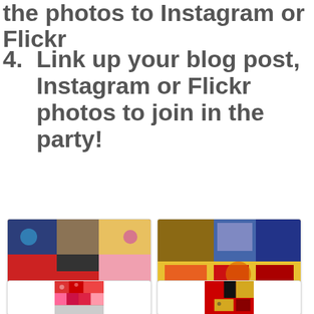the photos to Instagram or Flickr
4. Link up your blog post, Instagram or Flickr photos to join in the party!
[Figure (photo): Quilt blocks arranged in a patchwork pattern with various fabrics, caption: 1. Lori in PEI]
[Figure (photo): Colorful quilt blocks with yellow, blue, and red fabrics, caption: 2. Slab blocks for the Canadian Quilt Bee]
[Figure (photo): Red and pink patchwork quilt blocks with various patterns]
[Figure (photo): Red, black, and gold quilt blocks in slab style]